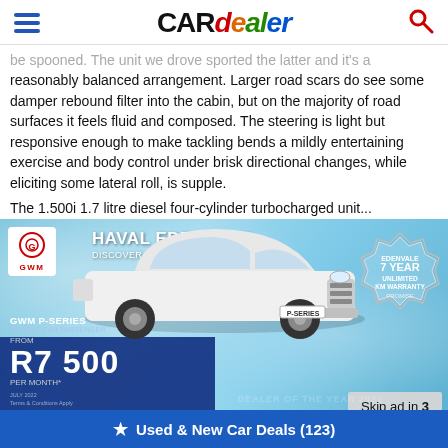CARdealer
be spooned. The unit we drove sported the latter and it's a reasonably balanced arrangement. Larger road scars do see some damper rebound filter into the cabin, but on the majority of road surfaces it feels fluid and composed. The steering is light but responsive enough to make tackling bends a mildly entertaining exercise and body control under brisk directional changes, while eliciting some lateral roll, is supple.
The 1.500i 1.7 litre diesel four-cylinder turbocharged unit...
[Figure (photo): GWM Haval Edenvale advertisement featuring white GWM P-Series Double Cab Passenger pickup truck on an icy blue background. Text reads: HAVAL EDENVALE, DISCOVER THE DIFFERENCE. GWM P-SERIES DOUBLE CAB PASSENGER, FROM R7 500 PER MONTH*. 7 YEAR UNLIMITED KM WARRANTY badge. Skip ad in 3 overlay.]
Used & New Car Deals (123)